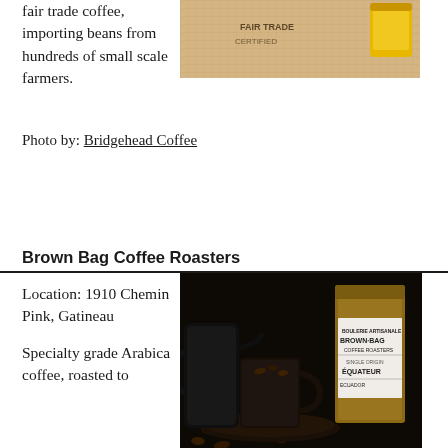fair trade coffee, importing beans from hundreds of small scale farmers.
[Figure (photo): Photo of coffee burlap sack with fair trade imagery and a yellow container]
Photo by: Bridgehead Coffee
Brown Bag Coffee Roasters
Location: 1910 Chemin Pink, Gatineau
Specialty grade Arabica coffee, roasted to
[Figure (photo): Dark moody photo of Brown Bag Coffee Roasters products: a black electric kettle, a mug with coffee beans, and a brown bag labeled BROWN BAG COFFEE ROASTERS EQUATEUR on a dark background with scattered coffee beans]